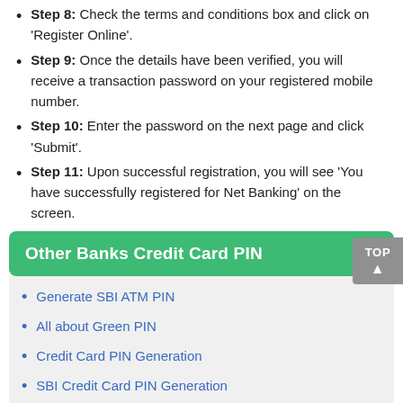Step 8: Check the terms and conditions box and click on 'Register Online'.
Step 9: Once the details have been verified, you will receive a transaction password on your registered mobile number.
Step 10: Enter the password on the next page and click 'Submit'.
Step 11: Upon successful registration, you will see 'You have successfully registered for Net Banking' on the screen.
Other Banks Credit Card PIN
Generate SBI ATM PIN
All about Green PIN
Credit Card PIN Generation
SBI Credit Card PIN Generation
HDFC Credit Card PIN Generation
PNB Credit Card PIN
Axis Credit Card PIN Generation
IndusInd Credit Card PIN Generation
Kotak Credit Card PIN Generation